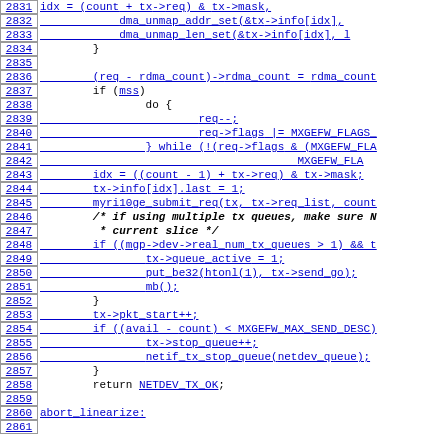[Figure (screenshot): Source code listing showing C code lines 2831-2861, with line numbers on the left in bordered boxes, and code in blue monospace font with underlines on identifiers. Shows DMA operations, RDMA count assignment, conditional blocks with mss, myri10ge_submit_req call, queue management, and abort_linearize label.]